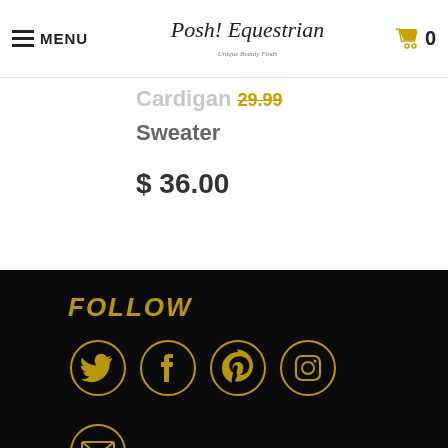MENU | Posh! Equestrian | 0
Cardigan
Sweater
$ 36.00
FOLLOW
[Figure (infographic): Four gold-outlined social media icon circles on black background: Twitter bird, Facebook f, Pinterest p, Instagram camera]
[Figure (infographic): Gold-outlined email envelope icon circle on black background]
HOME